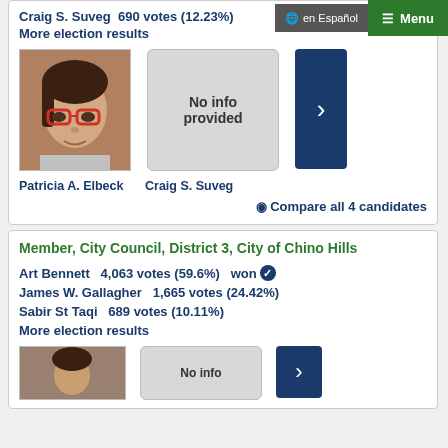🌐 en Español
☰ Menu
Craig S. Suveg  690 votes (12.23%)
More election results
[Figure (photo): Photo of Patricia A. Elbeck, a woman with dark hair and red glasses]
No info provided
Patricia A. Elbeck
Craig S. Suveg
Compare all 4 candidates
Member, City Council, District 3, City of Chino Hills
Art Bennett  4,063 votes (59.6%)  won
James W. Gallagher  1,665 votes (24.42%)
Sabir St Taqi  689 votes (10.11%)
More election results
[Figure (photo): Partial photo of a candidate at the bottom of the page]
No info